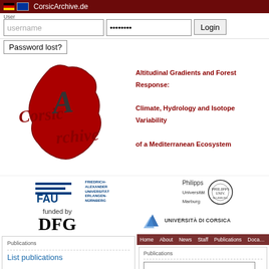CorsicArchive.de
[Figure (screenshot): Login bar with username field, password field (masked), and Login button]
Password lost?
[Figure (logo): CorsicArchive logo with stylized red Corsica island shape and italic text 'CorsicArchive']
Altitudinal Gradients and Forest Response:
Climate, Hydrology and Isotope Variability
of a Mediterranean Ecosystem
[Figure (logo): FAU Friedrich-Alexander Universität Erlangen-Nürnberg logo]
[Figure (logo): Philipps Universität Marburg logo with seal]
[Figure (logo): DFG funded by logo]
[Figure (logo): Università di Corsica logo]
Publications
List publications
Quick search
Publications:
Datasets:
Publications
Publication type: Any
Inc. date from: ↑↓